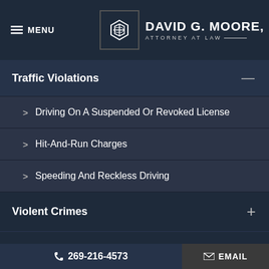MENU | DAVID G. MOORE, ATTORNEY AT LAW
Traffic Violations
Driving On A Suspended Or Revoked License
Hit-And-Run Charges
Speeding And Reckless Driving
Violent Crimes
Weapons Offenses
White Collar Crimes
269-216-4573 | EMAIL